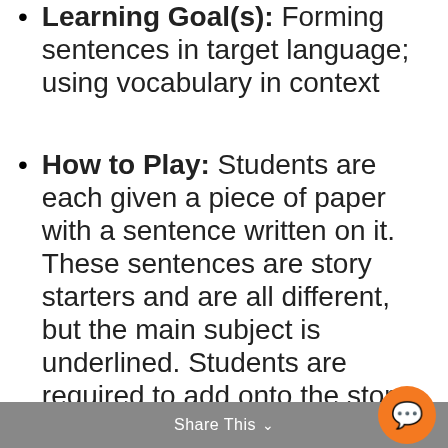Learning Goal(s): Forming sentences in target language; using vocabulary in context
How to Play: Students are each given a piece of paper with a sentence written on it. These sentences are story starters and are all different, but the main subject is underlined. Students are required to add onto the story by writing their own sentence below it. The catch is that they are to use the same subject and underline it (to keep the story intact), and
Share This ∨